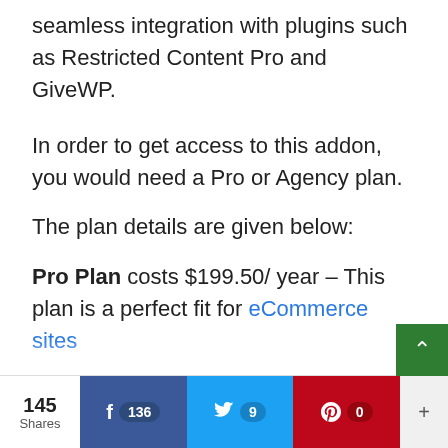seamless integration with plugins such as Restricted Content Pro and GiveWP.
In order to get access to this addon, you would need a Pro or Agency plan.
The plan details are given below:
Pro Plan costs $199.50/ year – This plan is a perfect fit for eCommerce sites
Agency Plan costs $399.50/ year This plan is the best fit for marketi…
145 Shares | Facebook 136 | Twitter 9 | Pinterest 0 | +